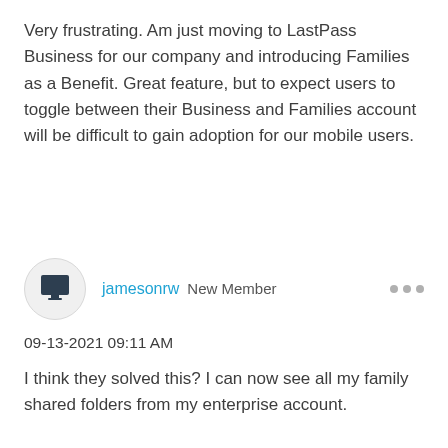Very frustrating. Am just moving to LastPass Business for our company and introducing Families as a Benefit. Great feature, but to expect users to toggle between their Business and Families account will be difficult to gain adoption for our mobile users.
jamesonrw New Member
09-13-2021 09:11 AM
I think they solved this?  I can now see all my family shared folders from my enterprise account.